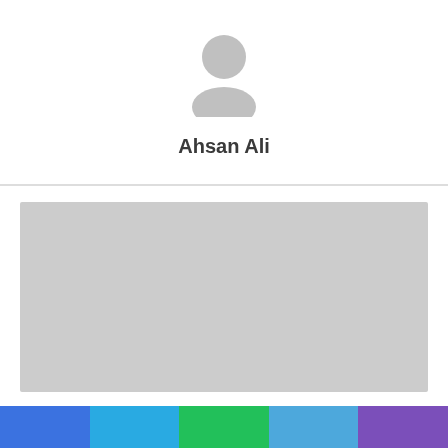[Figure (illustration): Generic user avatar placeholder icon in light gray]
Ahsan Ali
[Figure (photo): Large gray placeholder image for a medical article]
Rheumatoid Arthritis
[Figure (infographic): Horizontal color bar with five segments: blue, sky blue, green, light blue, purple]